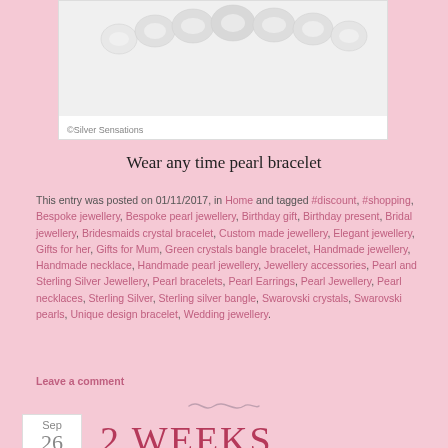[Figure (photo): Pearl bracelet product photo on white background with copyright notice '©Silver Sensations']
Wear any time pearl bracelet
This entry was posted on 01/11/2017, in Home and tagged #discount, #shopping, Bespoke jewellery, Bespoke pearl jewellery, Birthday gift, Birthday present, Bridal jewellery, Bridesmaids crystal bracelet, Custom made jewellery, Elegant jewellery, Gifts for her, Gifts for Mum, Green crystals bangle bracelet, Handmade jewellery, Handmade necklace, Handmade pearl jewellery, Jewellery accessories, Pearl and Sterling Silver Jewellery, Pearl bracelets, Pearl Earrings, Pearl Jewellery, Pearl necklaces, Sterling Silver, Sterling silver bangle, Swarovski crystals, Swarovski pearls, Unique design bracelet, Wedding jewellery.
Leave a comment
[Figure (illustration): Decorative swirl/tilde divider]
Sep 26
2 WEEKS